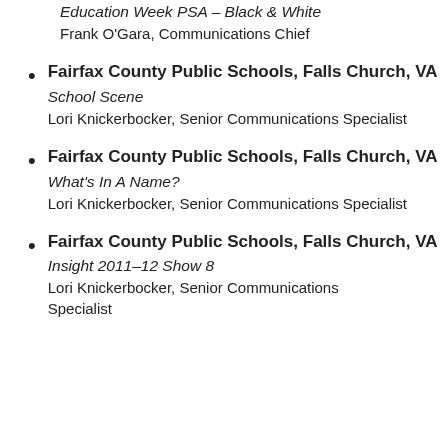Education Week PSA – Black & White
Frank O'Gara, Communications Chief
Fairfax County Public Schools, Falls Church, VA
School Scene
Lori Knickerbocker, Senior Communications Specialist
Fairfax County Public Schools, Falls Church, VA
What's In A Name?
Lori Knickerbocker, Senior Communications Specialist
Fairfax County Public Schools, Falls Church, VA
Insight 2011–12 Show 8
Lori Knickerbocker, Senior Communications Specialist